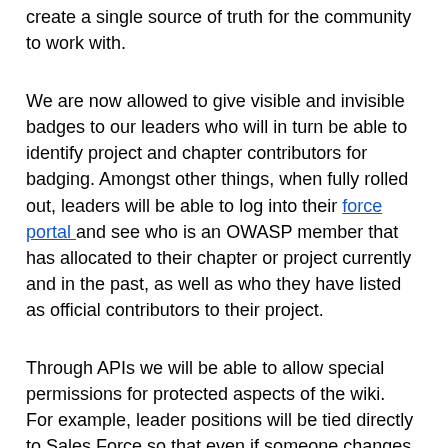create a single source of truth for the community to work with.
We are now allowed to give visible and invisible badges to our leaders who will in turn be able to identify project and chapter contributors for badging. Amongst other things, when fully rolled out, leaders will be able to log into their force portal and see who is an OWASP member that has allocated to their chapter or project currently and in the past, as well as who they have listed as official contributors to their project.
Through APIs we will be able to allow special permissions for protected aspects of the wiki.  For example, leader positions will be tied directly to Sales Force so that even if someone changes them on the wiki they will revert to the official status.  Additionally, project leaders can allow particular contributors to update protected projects pages. When tied with the upcoming volunteer platform, Leaders will have much more organized control, APIs will slowly be able to eliminate repetitive tasks, and key insights will be much more apparent.